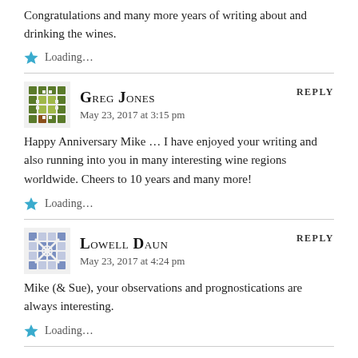Congratulations and many more years of writing about and drinking the wines.
Loading...
Greg Jones says: May 23, 2017 at 3:15 pm REPLY
Happy Anniversary Mike ... I have enjoyed your writing and also running into you in many interesting wine regions worldwide. Cheers to 10 years and many more!
Loading...
Lowell Daun says: May 23, 2017 at 4:24 pm REPLY
Mike (& Sue), your observations and prognostications are always interesting.
Loading...